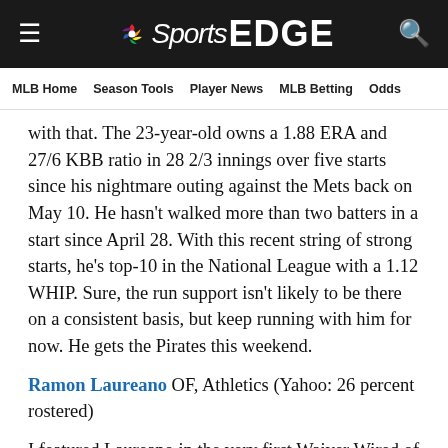NBC Sports EDGE
MLB Home | Season Tools | Player News | MLB Betting | Odds
with that. The 23-year-old owns a 1.88 ERA and 27/6 KBB ratio in 28 2/3 innings over five starts since his nightmare outing against the Mets back on May 10. He hasn't walked more than two batters in a start since April 28. With this recent string of strong starts, he's top-10 in the National League with a 1.12 WHIP. Sure, the run support isn't likely to be there on a consistent basis, but keep running with him for now. He gets the Pirates this weekend.
Ramon Laureano OF, Athletics (Yahoo: 26 percent rostered)
I featured Laureano in the very first Waiver Wired of the season. That didn't look so good early on, but Laser Ramon has redeemed himself recently. After hitting a grand slam and stealing two bags Wednesday